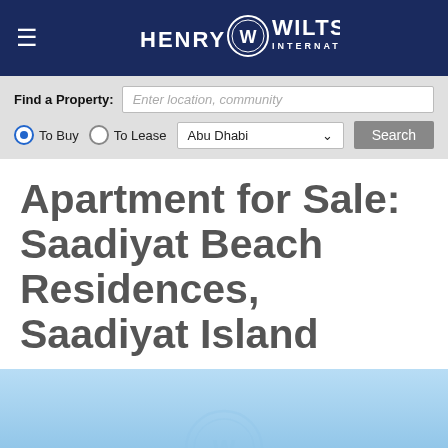Henry Wiltshire International
Find a Property: Enter location, community | To Buy | To Lease | Abu Dhabi | Search
Apartment for Sale: Saadiyat Beach Residences, Saadiyat Island
[Figure (photo): Coastal beach scene with blue sky and sandy shore at Saadiyat Island, with Henry Wiltshire watermark overlay]